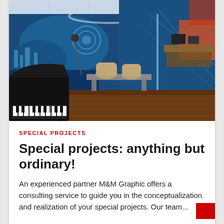[Figure (photo): Interior of a broadcast studio with blue graphic-painted walls featuring a CBC logo, chairs and desks with microphones, a grand piano in the foreground on the left, LED lighting along the walls, and wood-paneled flooring.]
SPECIAL PROJECTS
Special projects: anything but ordinary!
An experienced partner M&M Graphic offers a consulting service to guide you in the conceptualization and realization of your special projects. Our team...